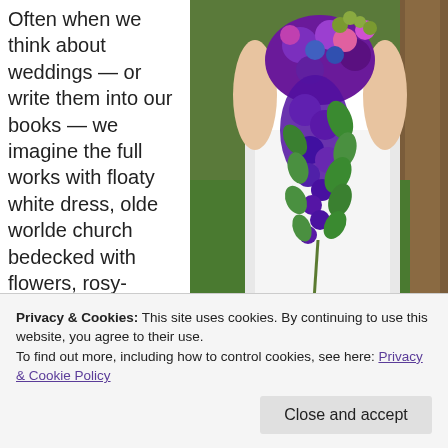Often when we think about weddings — or write them into our books — we imagine the full works with floaty white dress, olde worlde church bedecked with flowers, rosy-cheeked clergyman
[Figure (photo): A bride in a white dress holding a large cascading bouquet of purple, blue, pink, and green flowers and foliage]
Privacy & Cookies: This site uses cookies. By continuing to use this website, you agree to their use.
To find out more, including how to control cookies, see here: Privacy & Cookie Policy
Close and accept